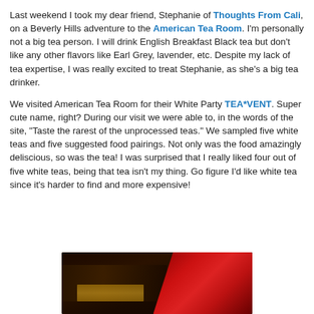Last weekend I took my dear friend, Stephanie of Thoughts From Cali, on a Beverly Hills adventure to the American Tea Room. I'm personally not a big tea person. I will drink English Breakfast Black tea but don't like any other flavors like Earl Grey, lavender, etc. Despite my lack of tea expertise, I was really excited to treat Stephanie, as she's a big tea drinker.
We visited American Tea Room for their White Party TEA*VENT. Super cute name, right? During our visit we were able to, in the words of the site, "Taste the rarest of the unprocessed teas." We sampled five white teas and five suggested food pairings. Not only was the food amazingly deliscious, so was the tea! I was surprised that I really liked four out of five white teas, being that tea isn't my thing. Go figure I'd like white tea since it's harder to find and more expensive!
[Figure (photo): A dark-toned photograph showing what appears to be a tea room interior with shelves of tea products on the left and vivid red flowers (poinsettias) on the right side of the image.]